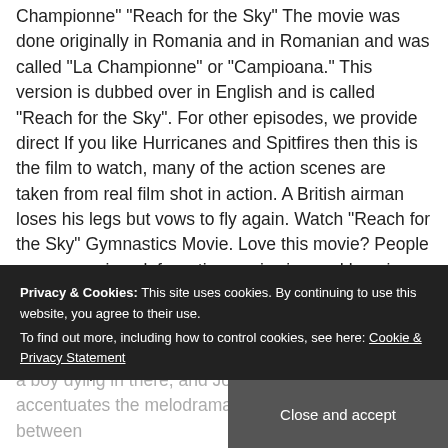Championne" "Reach for the Sky" The movie was done originally in Romania and in Romanian and was called "La Championne" or "Campioana." This version is dubbed over in English and is called "Reach for the Sky". For other episodes, we provide direct If you like Hurricanes and Spitfires then this is the film to watch, many of the action scenes are taken from real film shot in action. A British airman loses his legs but vows to fly again. Watch "Reach for the Sky" Gymnastics Movie. Love this movie? People use mymovierack for rating, reviewing and keeping track of watchlist. Personalized recommendation based on your taste. The true story of airman Douglas Bader Moore's portrayal of Bader is brilliant and the episode where he learns to walk on tin
Privacy & Cookies: This site uses cookies. By continuing to use this website, you agree to their use. To find out more, including how to control cookies, see here: Cookie & Privacy Statement
Close and accept
a boy dying in there, and John Addison's score accentuates the melodrama, but the balance between